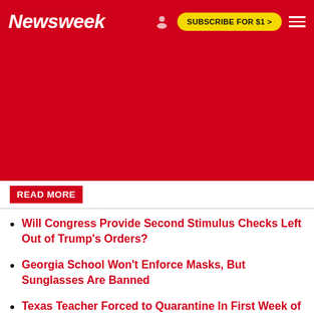Newsweek | SUBSCRIBE FOR $1 >
[Figure (other): Red advertisement area (blank/red background)]
READ MORE
Will Congress Provide Second Stimulus Checks Left Out of Trump's Orders?
Georgia School Won't Enforce Masks, But Sunglasses Are Banned
Texas Teacher Forced to Quarantine In First Week of School Reopening